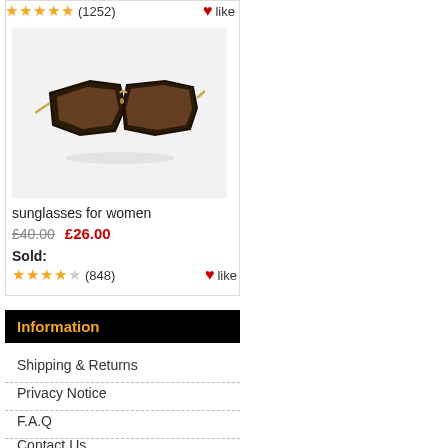★★★★★ (1252)   ♥like
[Figure (photo): Oversized tortoiseshell women's sunglasses with gold temples on grey background]
sunglasses for women
£40.00   £26.00
Sold:
★★★★☆ (848)   ♥like
Information
Shipping & Returns
Privacy Notice
F.A.Q
Contact Us